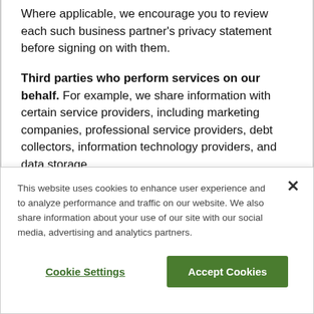Where applicable, we encourage you to review each such business partner's privacy statement before signing on with them.
Third parties who perform services on our behalf. For example, we share information with certain service providers, including marketing companies, professional service providers, debt collectors, information technology providers, and data storage
This website uses cookies to enhance user experience and to analyze performance and traffic on our website. We also share information about your use of our site with our social media, advertising and analytics partners.